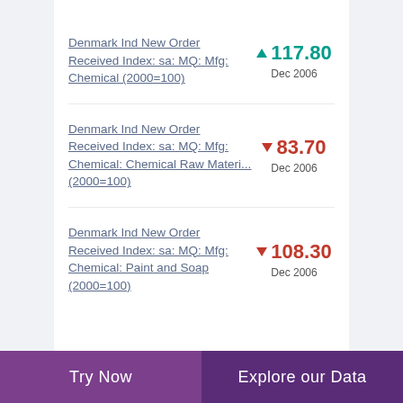Denmark Ind New Order Received Index: sa: MQ: Mfg: Chemical (2000=100) ▲ 117.80 Dec 2006
Denmark Ind New Order Received Index: sa: MQ: Mfg: Chemical: Chemical Raw Materi... (2000=100) ▼ 83.70 Dec 2006
Denmark Ind New Order Received Index: sa: MQ: Mfg: Chemical: Paint and Soap (2000=100) ▼ 108.30 Dec 2006
Try Now | Explore our Data